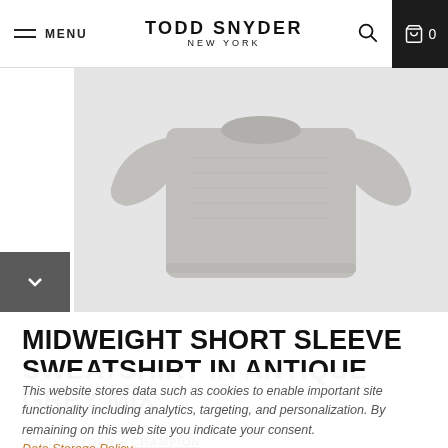MENU | TODD SNYDER NEW YORK | 0
[Figure (photo): Product photo of a grey midweight short sleeve sweatshirt on white/light grey background, with a dark grey arrow-down thumbnail button on the left side]
MIDWEIGHT SHORT SLEEVE SWEATSHIRT IN ANTIQUE GREY MIX
TODD SNYDER + CHAMPION
This website stores data such as cookies to enable important site functionality including analytics, targeting, and personalization. By remaining on this web site you indicate your consent. Data Storage Policy